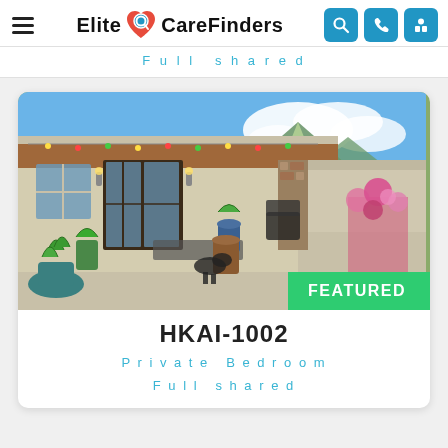Elite CareFinders
Full shared
[Figure (photo): Exterior photo of a residential care home with a covered patio, potted plants, flowers, outdoor furniture, and mountains visible in the background. A green 'FEATURED' badge appears in the lower right corner of the image.]
HKAI-1002
Private Bedroom
Full shared